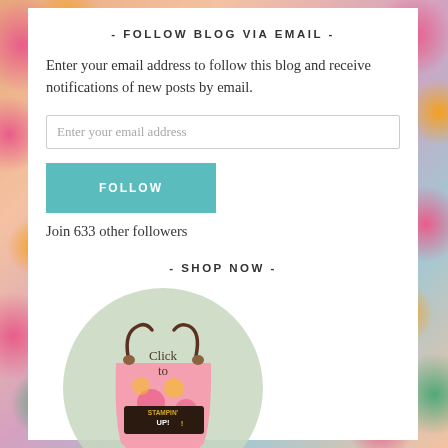- FOLLOW BLOG VIA EMAIL -
Enter your email address to follow this blog and receive notifications of new posts by email.
Enter your email address
FOLLOW
Join 633 other followers
- SHOP NOW -
[Figure (illustration): Circular badge/button with a decorative handbag design, 'Click to' text, Stampin' Up! logo, and 'Order Now!' text]